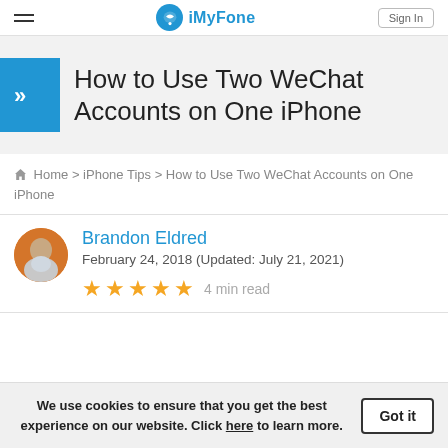iMyFone — Sign In
How to Use Two WeChat Accounts on One iPhone
Home > iPhone Tips > How to Use Two WeChat Accounts on One iPhone
Brandon Eldred
February 24, 2018 (Updated: July 21, 2021)
★★★★★ 4 min read
We use cookies to ensure that you get the best experience on our website. Click here to learn more. Got it